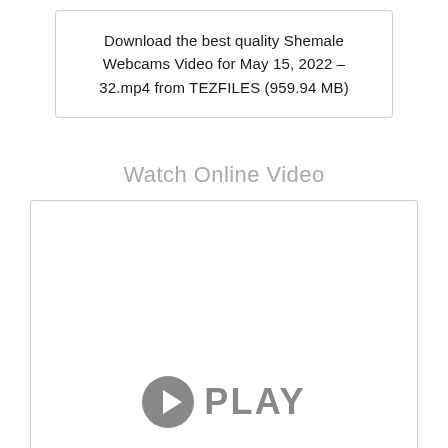Download the best quality Shemale Webcams Video for May 15, 2022 – 32.mp4 from TEZFILES (959.94 MB)
Watch Online Video
[Figure (other): Video player placeholder box with a play button icon and PLAY label in gray]